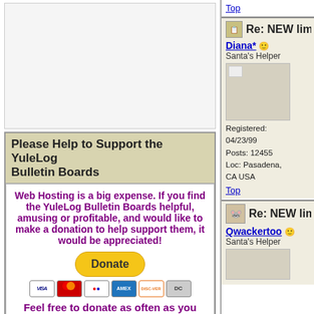[Figure (other): Advertisement/banner placeholder box, light gray background]
Please Help to Support the YuleLog Bulletin Boards
Web Hosting is a big expense. If you find the YuleLog Bulletin Boards helpful, amusing or profitable, and would like to make a donation to help support them, it would be appreciated!
[Figure (other): PayPal Donate button with credit card icons (Visa, Mastercard, Maestro, Amex, Discover, Diners Club)]
Feel free to donate as often as you like!
Top
Re: NEW lim
Diana*
Santa's Helper
Registered: 04/23/99
Posts: 12455
Loc: Pasadena, CA USA
Top
Re: NEW lim
Qwackertoo
Santa's Helper